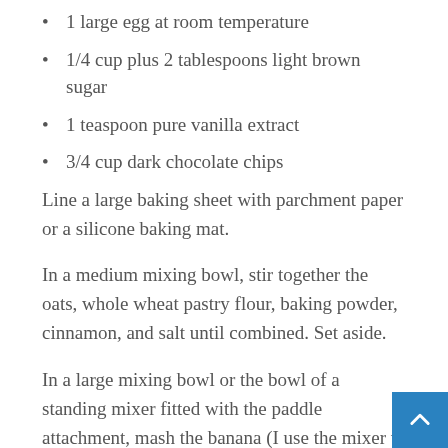1 large egg at room temperature
1/4 cup plus 2 tablespoons light brown sugar
1 teaspoon pure vanilla extract
3/4 cup dark chocolate chips
Line a large baking sheet with parchment paper or a silicone baking mat.
In a medium mixing bowl, stir together the oats, whole wheat pastry flour, baking powder, cinnamon, and salt until combined. Set aside.
In a large mixing bowl or the bowl of a standing mixer fitted with the paddle attachment, mash the banana (I use the mixer to do this), checking to make sure you have 1/2 cup. Add the coconut oil (or butter), egg,